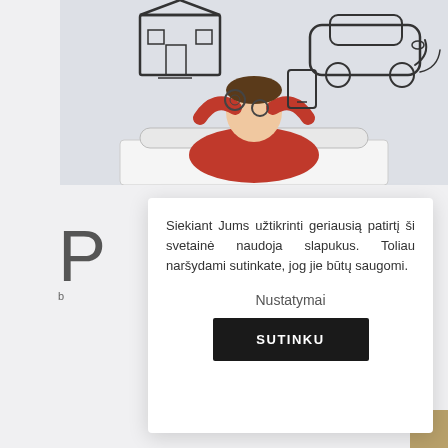[Figure (photo): A person lying back with hands behind their head, looking upward at hand-drawn sketches of a house, car, and other items on a white background — concept of insurance or dreaming about possessions.]
Siekiant Jums užtikrinti geriausią patirtį ši svetainė naudoja slapukus. Toliau naršydami sutinkate, jog jie būtų saugomi.
Nustatymai
SUTINKU